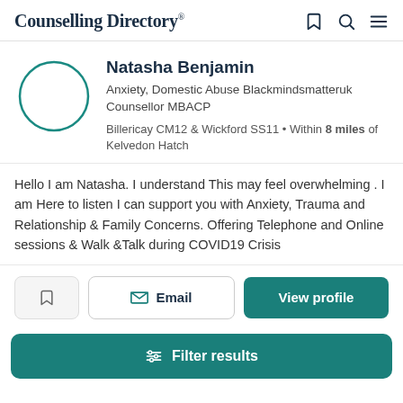Counselling Directory
[Figure (other): Profile card with circular avatar placeholder, name Natasha Benjamin, specialty Anxiety Domestic Abuse Blackmindsmatteruk Counsellor MBACP, location Billericay CM12 & Wickford SS11, Within 8 miles of Kelvedon Hatch]
Hello I am Natasha. I understand This may feel overwhelming . I am Here to listen I can support you with Anxiety, Trauma and Relationship & Family Concerns. Offering Telephone and Online sessions & Walk &Talk during COVID19 Crisis
Email | View profile
Filter results